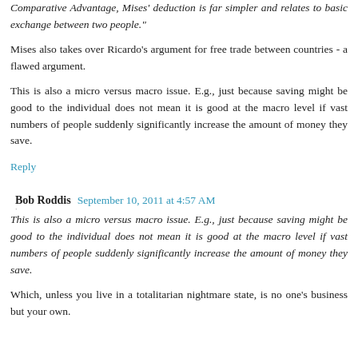Comparative Advantage, Mises' deduction is far simpler and relates to basic exchange between two people."
Mises also takes over Ricardo's argument for free trade between countries - a flawed argument.
This is also a micro versus macro issue. E.g., just because saving might be good to the individual does not mean it is good at the macro level if vast numbers of people suddenly significantly increase the amount of money they save.
Reply
Bob Roddis  September 10, 2011 at 4:57 AM
This is also a micro versus macro issue. E.g., just because saving might be good to the individual does not mean it is good at the macro level if vast numbers of people suddenly significantly increase the amount of money they save.
Which, unless you live in a totalitarian nightmare state, is no one's business but your own.